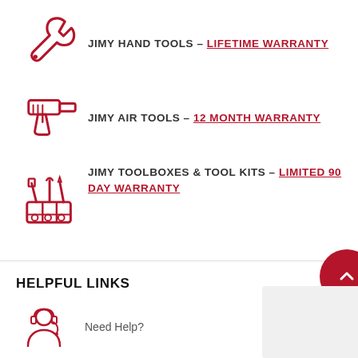JIMY HAND TOOLS – LIFETIME WARRANTY
JIMY AIR TOOLS – 12 MONTH WARRANTY
JIMY TOOLBOXES & TOOL KITS – LIMITED 90 DAY WARRANTY
HELPFUL LINKS
Need Help?